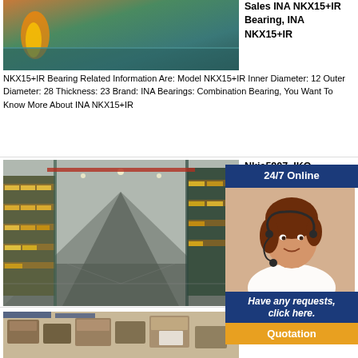[Figure (photo): Industrial/warehouse photo with orange flame and teal/green background]
Sales INA NKX15+IR Bearing, INA NKX15+IR Bearing Related Information Are: Model NKX15+IR Inner Diameter: 12 Outer Diameter: 28 Thickness: 23 Brand: INA Bearings: Combination Bearing, You Want To Know More About INA NKX15+IR
[Figure (photo): Large warehouse interior with yellow shelving units stacked with boxes]
Nkia5907, IKO
[Figure (infographic): 24/7 Online chat widget with blue header, customer service representative photo, 'Have any requests, click here.' text and orange Quotation button]
NKIA5907 Bearing Related Information Are: Inner Diameter: 35 Outer Diameter: 55 Thickness: Bearings: Combination Bearing, You Want To Know Mo 907
[Figure (photo): Boxes/packages in a warehouse or shipping area]
81252, FAG 81252